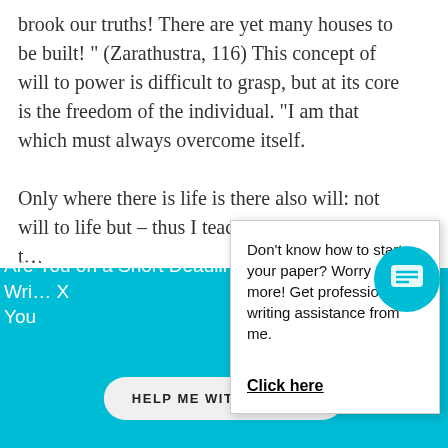brook our truths! There are yet many houses to be built! " (Zarathustra, 116) This concept of will to power is difficult to grasp, but at its core is the freedom of the individual. "I am that which must always overcome itself.

Only where there is life is there also will: not will to life but – thus I teach you – will t… (Zarathustra, 115)Nietzsche wants inc… accepted notion of mora… which obstructs one's ha… stands in the way of that … destroyed. An aspect of … when reading Nietzsche…
Don't know how to start your paper? Worry no more! Get professional writing assistance from me.
Click here
Are You on a Short Deadline? Let a Professional Wri… You
HELP ME WITH WRITING